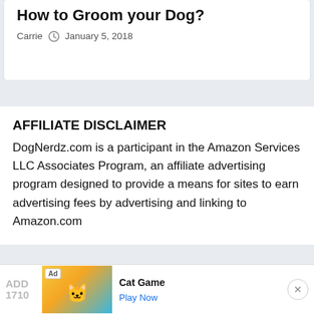How to Groom your Dog?
Carrie  January 5, 2018
AFFILIATE DISCLAIMER
DogNerdz.com is a participant in the Amazon Services LLC Associates Program, an affiliate advertising program designed to provide a means for sites to earn advertising fees by advertising and linking to Amazon.com
[Figure (other): Advertisement banner for Cat Game with Ad badge, colorful cartoon cat imagery, Play Now button, and close button]